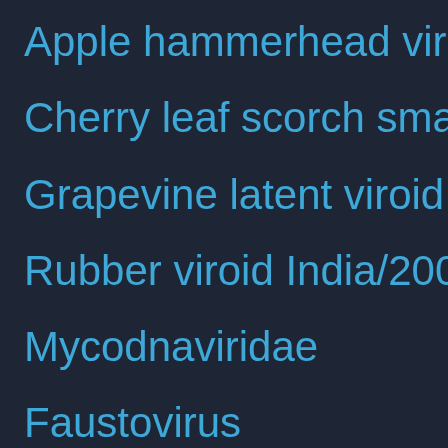Apple hammerhead viroid-like
Cherry leaf scorch small circu
Grapevine latent viroid
Rubber viroid India/2009
Mycodnaviridae
Faustovirus